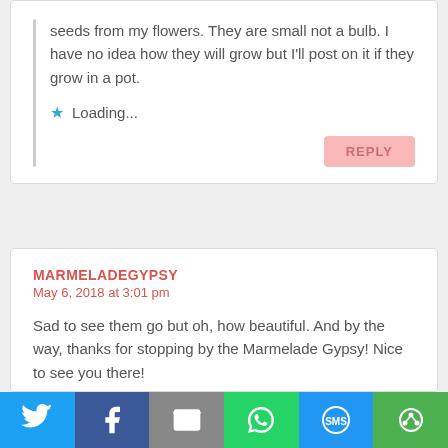seeds from my flowers. They are small not a bulb. I have no idea how they will grow but I'll post on it if they grow in a pot.
Loading...
REPLY
MARMELADEGYPSY
May 6, 2018 at 3:01 pm
Sad to see them go but oh, how beautiful. And by the way, thanks for stopping by the Marmelade Gypsy! Nice to see you there!
Loading...
[Figure (infographic): Social sharing bar with Twitter, Facebook, Email, WhatsApp, SMS, and share icons]